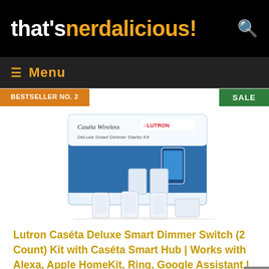that's nerdalicious!
Menu
BESTSELLER NO. 2
SALE
[Figure (photo): Lutron Caseta Wireless Deluxe Smart Dimmer Starter Kit product box with accessories displayed in front, on white background]
Lutron Caséta Deluxe Smart Dimmer Switch (2 Count) Kit with Caséta Smart Hub | Works with Alexa, Apple HomeKit, Ring, Google Assistant | P-BDG-PKG2W-A | White